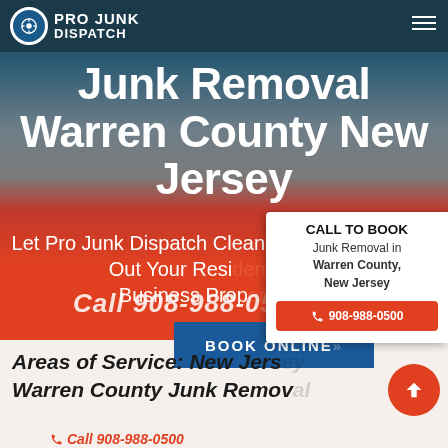Pro Junk Dispatch
Junk Removal Warren County New Jersey
Let Pro Junk Dispatch Clean Up and Clear Out Your Residential Business Property
Call 908-988-0500
BOOK ONLINE
CALL TO BOOK
Junk Removal in
Warren County,
New Jersey
908-988-0500
Areas of Service: New Jersey Warren County Junk Removal
Call 908-988-0500